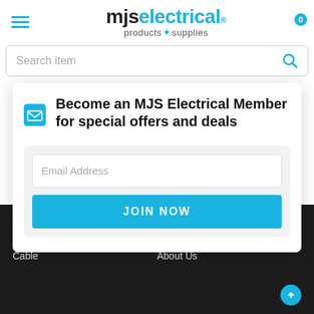[Figure (logo): MJS Electrical Products & Supplies logo with hamburger menu and cart icon]
Search item
Become an MJS Electrical Member for special offers and deals
Email Address
JOIN NOW
OUR CATEGORIES
INFORMATION
Air Movement
Cable
My Account
About Us